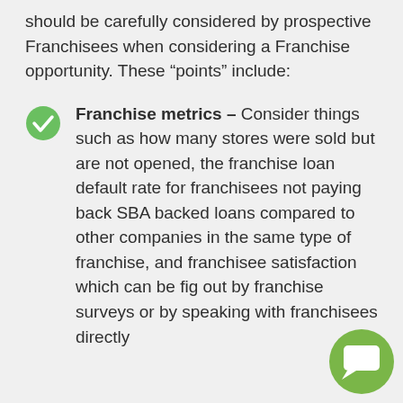should be carefully considered by prospective Franchisees when considering a Franchise opportunity. These “points” include:
Franchise metrics – Consider things such as how many stores were sold but are not opened, the franchise loan default rate for franchisees not paying back SBA backed loans compared to other companies in the same type of franchise, and franchisee satisfaction which can be figured out by franchise surveys or by speaking with franchisees directly